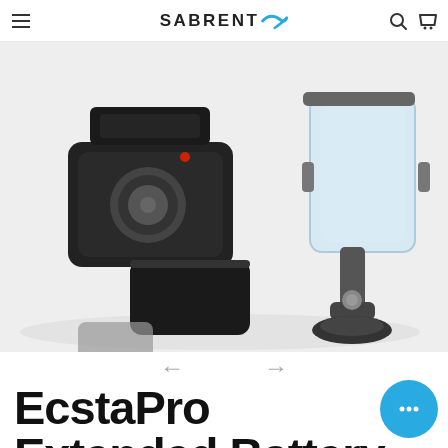SABRENT
[Figure (photo): Product photo showing a GoPro action camera with a black extended battery case/door open, alongside a clear waterproof housing mounted on a suction cup, against a white background.]
EcstaPro Extended Battery